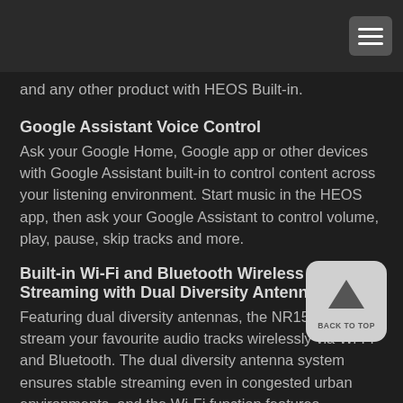and any other product with HEOS Built-in.
Google Assistant Voice Control
Ask your Google Home, Google app or other devices with Google Assistant built-in to control content across your listening environment. Start music in the HEOS app, then ask your Google Assistant to control volume, play, pause, skip tracks and more.
Built-in Wi-Fi and Bluetooth Wireless Streaming with Dual Diversity Antennas
Featuring dual diversity antennas, the NR1510 lets you stream your favourite audio tracks wirelessly via Wi-Fi and Bluetooth. The dual diversity antenna system ensures stable streaming even in congested urban environments, and the Wi-Fi function features 2.4GHz(11b/g/n), 5GHz(11a/n) technology for compatibility with the widest range of networking devices. The